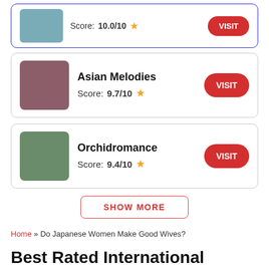Score: 10.0/10 ★
Asian Melodies
Score: 9.7/10 ★
Orchidromance
Score: 9.4/10 ★
SHOW MORE
Home » Do Japanese Women Make Good Wives?
Best Rated International Dating Sites To Find Girls
Advertiser Disclosure